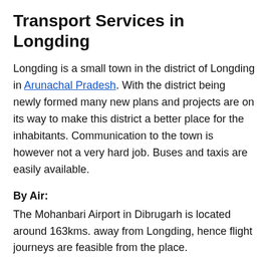Transport Services in Longding
Longding is a small town in the district of Longding in Arunachal Pradesh. With the district being newly formed many new plans and projects are on its way to make this district a better place for the inhabitants. Communication to the town is however not a very hard job. Buses and taxis are easily available.
By Air:
The Mohanbari Airport in Dibrugarh is located around 163kms. away from Longding, hence flight journeys are feasible from the place.
By Rail:
The nearest railway station to the town of Longding is